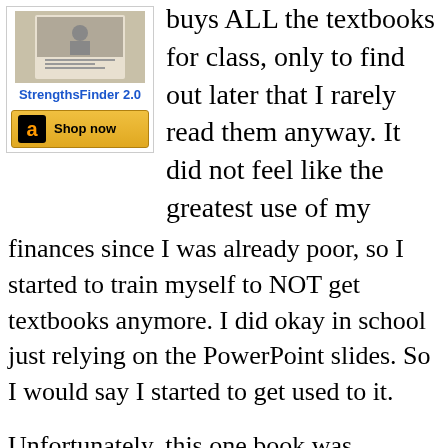[Figure (other): Amazon advertisement showing StrengthsFinder 2.0 book with Shop now button]
buys ALL the textbooks for class, only to find out later that I rarely read them anyway. It did not feel like the greatest use of my finances since I was already poor, so I started to train myself to NOT get textbooks anymore. I did okay in school just relying on the PowerPoint slides. So I would say I started to get used to it.
Unfortunately, this one book was required to get through one of my classes. Additionally, I could not excuse getting it "used" because ONLY the